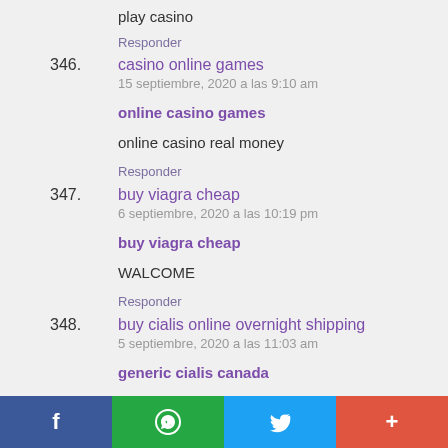play casino
Responder
346. casino online games
15 septiembre, 2020 a las 9:10 am
online casino games
online casino real money
Responder
347. buy viagra cheap
6 septiembre, 2020 a las 10:19 pm
buy viagra cheap
WALCOME
Responder
348. buy cialis online overnight shipping
5 septiembre, 2020 a las 11:03 am
generic cialis canada
cialis online reviews